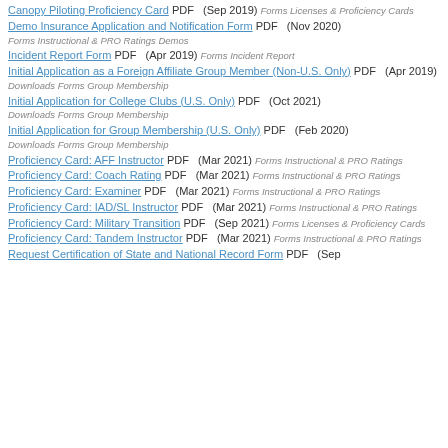Canopy Piloting Proficiency Card PDF (Sep 2019) Forms Licenses & Proficiency Cards
Demo Insurance Application and Notification Form PDF (Nov 2020) Forms Instructional & PRO Ratings Demos
Incident Report Form PDF (Apr 2019) Forms Incident Report
Initial Application as a Foreign Affiliate Group Member (Non-U.S. Only) PDF (Apr 2019) Downloads Forms Group Membership
Initial Application for College Clubs (U.S. Only) PDF (Oct 2021) Downloads Forms Group Membership
Initial Application for Group Membership (U.S. Only) PDF (Feb 2020) Downloads Forms Group Membership
Proficiency Card: AFF Instructor PDF (Mar 2021) Forms Instructional & PRO Ratings
Proficiency Card: Coach Rating PDF (Mar 2021) Forms Instructional & PRO Ratings
Proficiency Card: Examiner PDF (Mar 2021) Forms Instructional & PRO Ratings
Proficiency Card: IAD/SL Instructor PDF (Mar 2021) Forms Instructional & PRO Ratings
Proficiency Card: Military Transition PDF (Sep 2021) Forms Licenses & Proficiency Cards
Proficiency Card: Tandem Instructor PDF (Mar 2021) Forms Instructional & PRO Ratings
Request Certification of State and National Record Form PDF (Sep